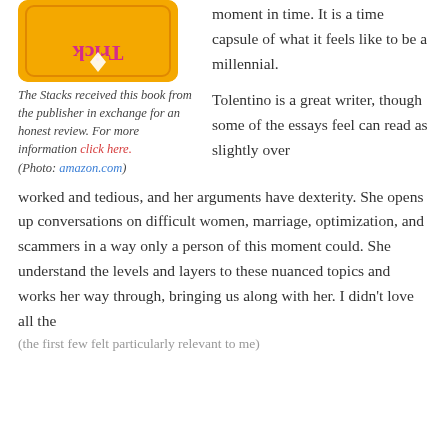[Figure (illustration): Book cover showing 'Trick Mirror' text upside-down in pink/magenta on an orange/yellow background with a white diamond shape]
The Stacks received this book from the publisher in exchange for an honest review. For more information click here. (Photo: amazon.com)
moment in time. It is a time capsule of what it feels like to be a millennial.
Tolentino is a great writer, though some of the essays feel can read as slightly over worked and tedious, and her arguments have dexterity. She opens up conversations on difficult women, marriage, optimization, and scammers in a way only a person of this moment could. She understand the levels and layers to these nuanced topics and works her way through, bringing us along with her. I didn't love all the (the first few felt particularly relevant to me)